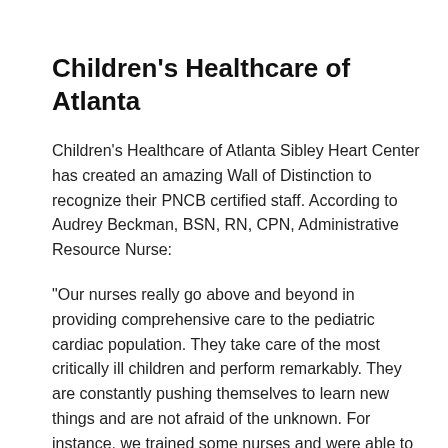Children's Healthcare of Atlanta
Children's Healthcare of Atlanta Sibley Heart Center has created an amazing Wall of Distinction to recognize their PNCB certified staff. According to Audrey Beckman, BSN, RN, CPN, Administrative Resource Nurse:
"Our nurses really go above and beyond in providing comprehensive care to the pediatric cardiac population. They take care of the most critically ill children and perform remarkably. They are constantly pushing themselves to learn new things and are not afraid of the unknown. For instance, we trained some nurses and were able to take care of a